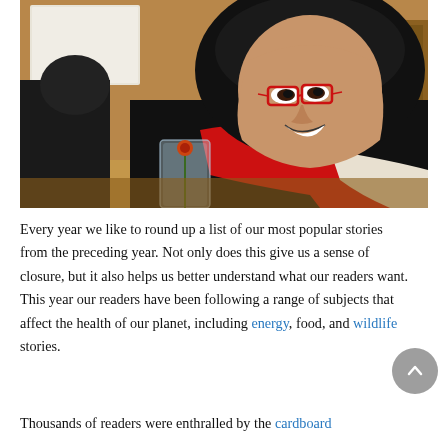[Figure (photo): A smiling young woman wearing a black hijab and red and white scarf, holding a glass vase with a flower inside. She is in an indoor setting with warm lighting, resembling a ceremony or event.]
Every year we like to round up a list of our most popular stories from the preceding year. Not only does this give us a sense of closure, but it also helps us better understand what our readers want. This year our readers have been following a range of subjects that affect the health of our planet, including energy, food, and wildlife stories.
Thousands of readers were enthralled by the cardboard